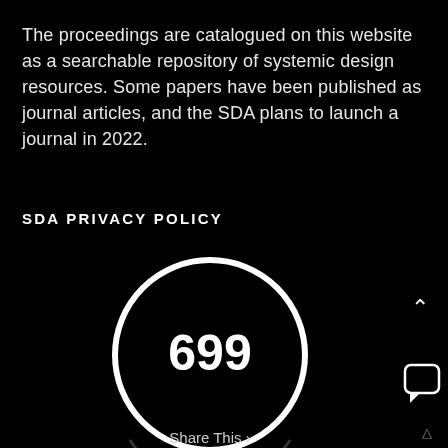The proceedings are catalogued on this website as a searchable repository of systemic design resources. Some papers have been published as journal articles, and the SDA plans to launch a journal in 2022.
SDA PRIVACY POLICY
[Figure (infographic): A large circle with a thick white border on a black background, displaying the number 699 in bold white text at the center. Below the circle is a 'Share This' label with a chevron. A chat bubble icon and a chevron-up icon appear on the right side.]